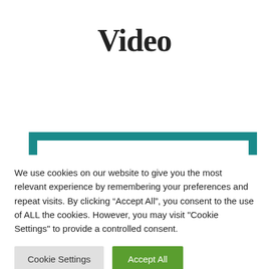Video
[Figure (other): Teal/dark-teal rectangular frame border visible at the bottom of the upper section, partially cropped]
We use cookies on our website to give you the most relevant experience by remembering your preferences and repeat visits. By clicking “Accept All”, you consent to the use of ALL the cookies. However, you may visit "Cookie Settings" to provide a controlled consent.
Cookie Settings
Accept All